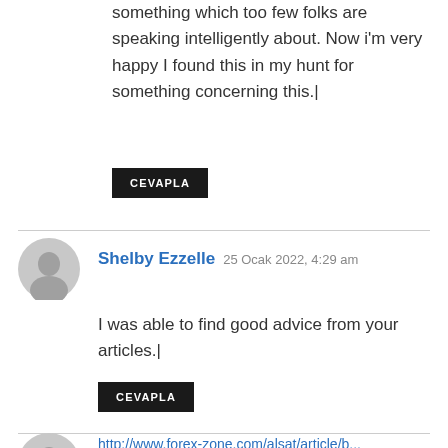something which too few folks are speaking intelligently about. Now i'm very happy I found this in my hunt for something concerning this.|
CEVAPLA
Shelby Ezzelle  25 Ocak 2022, 4:29 am
I was able to find good advice from your articles.|
CEVAPLA
http://...